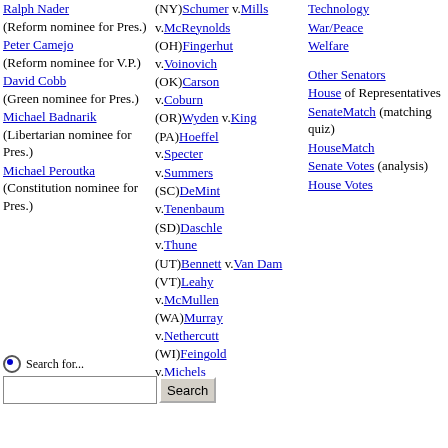Ralph Nader (Reform nominee for Pres.)
Peter Camejo (Reform nominee for V.P.)
David Cobb (Green nominee for Pres.)
Michael Badnarik (Libertarian nominee for Pres.)
Michael Peroutka (Constitution nominee for Pres.)
(NY)Schumer v.Mills
v.McReynolds
(OH)Fingerhut v.Voinovich
(OK)Carson v.Coburn
(OR)Wyden v.King
(PA)Hoeffel v.Specter
v.Summers
(SC)DeMint v.Tenenbaum
(SD)Daschle v.Thune
(UT)Bennett v.Van Dam
(VT)Leahy v.McMullen
(WA)Murray v.Nethercutt
(WI)Feingold v.Michels
Technology
War/Peace
Welfare
Other Senators
House of Representatives
SenateMatch (matching quiz)
HouseMatch
Senate Votes (analysis)
House Votes